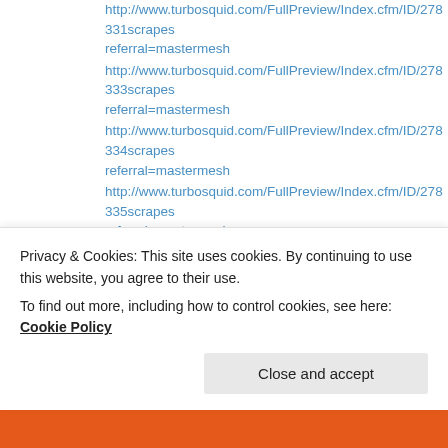http://www.turbosquid.com/FullPreview/Index.cfm/ID/278331scrapes referral=mastermesh
http://www.turbosquid.com/FullPreview/Index.cfm/ID/278333scrapes referral=mastermesh
http://www.turbosquid.com/FullPreview/Index.cfm/ID/278334scrapes referral=mastermesh
http://www.turbosquid.com/FullPreview/Index.cfm/ID/278335scrapes referral=mastermesh
http://www.turbosquid.com/FullPreview/Index.cfm/ID/278336scrapes referral=mastermesh
http://www.turbosquid.com/FullPreview/Index.cfm/ID/278337scrapes referral=mastermesh
http://www.turbosquid.com/FullPreview/Index.cfm/ID/278338scrapes referral=mastermesh
Privacy & Cookies: This site uses cookies. By continuing to use this website, you agree to their use.
To find out more, including how to control cookies, see here: Cookie Policy